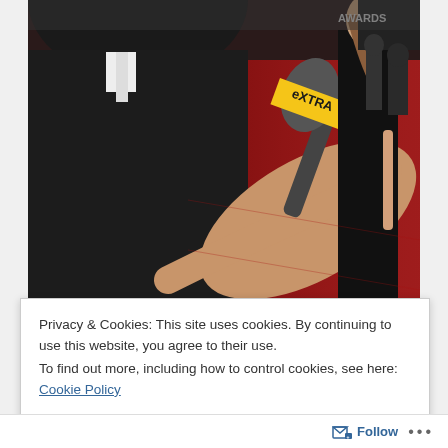[Figure (photo): Red carpet interview scene. A person in a black suit holds a microphone labeled 'eXTRA' toward a woman in a black dress on a red carpet. The background shows 'AWARDS' text and other attendees.]
Privacy & Cookies: This site uses cookies. By continuing to use this website, you agree to their use.
To find out more, including how to control cookies, see here: Cookie Policy
Close and accept
Follow ...